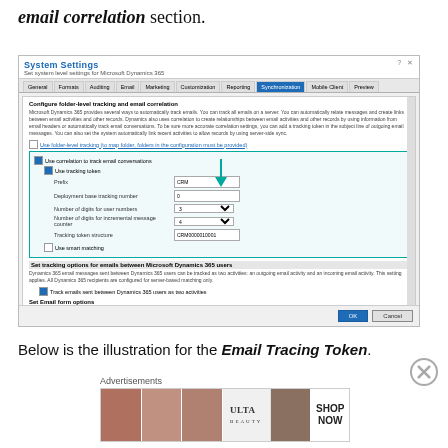email correlation section.
[Figure (screenshot): System Settings dialog from Microsoft Dynamics 365 showing email tracking and correlation options with a teal/green arrow pointing to a checkbox area. The dialog shows tabs: General, Formats, Auditing, Email, Marketing, Customization, Reporting, Synchronization, Mobile Client, Preview. A blue-bordered section shows tracking token configuration fields including Prefix, Deployment base tracking number, Number of digits for user numbers, Number of digits for incremental message counter, and Tracking token structure.]
Below is the illustration for the Email Tracing Token.
Advertisements
[Figure (photo): Ulta Beauty advertisement banner showing makeup and beauty product images with ULTA logo and SHOP NOW text.]